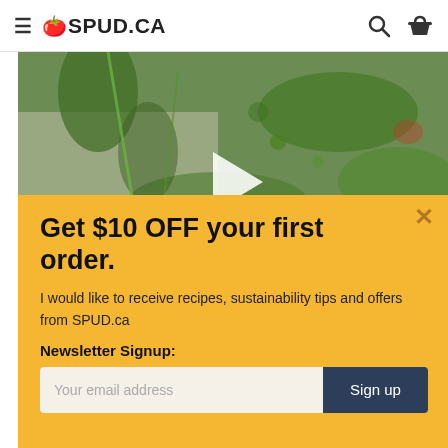SPUD.CA
[Figure (photo): Close-up photo of green leafy vegetables/microgreens with a white play button overlay, indicating a video thumbnail]
Get $10 OFF your first order.
I would like to receive recipes, sustainability tips and offers from SPUD.ca
Newsletter Signup:
Your email address  Sign up